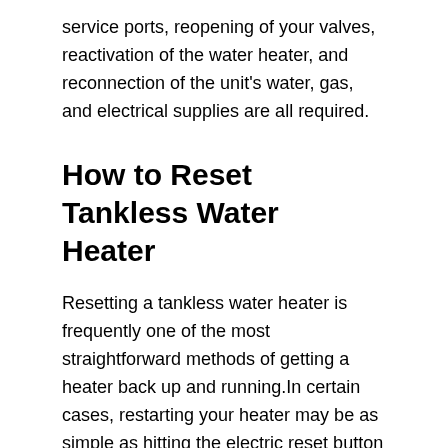service ports, reopening of your valves, reactivation of the water heater, and reconnection of the unit's water, gas, and electrical supplies are all required.
How to Reset Tankless Water Heater
Resetting a tankless water heater is frequently one of the most straightforward methods of getting a heater back up and running.In certain cases, restarting your heater may be as simple as hitting the electric reset button on the control panel.If the reset switch on another model has been tripped, you may need to take further steps to restore functionality.In this situation, the best course of action is to contact a certified plumber